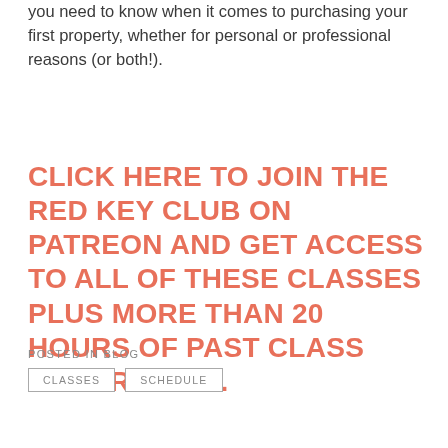you need to know when it comes to purchasing your first property, whether for personal or professional reasons (or both!).
CLICK HERE TO JOIN THE RED KEY CLUB ON PATREON AND GET ACCESS TO ALL OF THESE CLASSES PLUS MORE THAN 20 HOURS OF PAST CLASS RECORDINGS.
POSTED IN BLOG
CLASSES
SCHEDULE